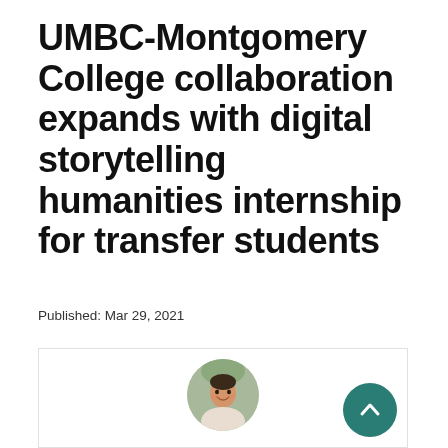UMBC-Montgomery College collaboration expands with digital storytelling humanities internship for transfer students
Published: Mar 29, 2021
[Figure (photo): A circular portrait photo of a woman smiling, inside a white card/box with a light border. A teal back-to-top arrow button appears in the lower right of the card.]